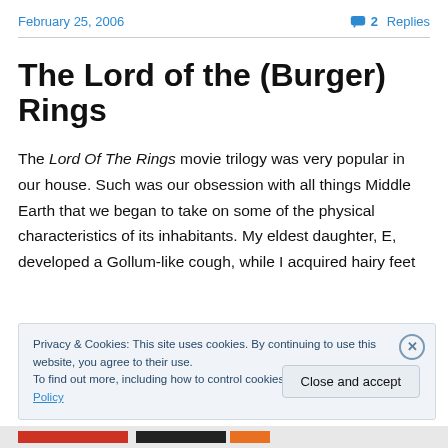February 25, 2006
💬 2 Replies
The Lord of the (Burger) Rings
The Lord Of The Rings movie trilogy was very popular in our house. Such was our obsession with all things Middle Earth that we began to take on some of the physical characteristics of its inhabitants. My eldest daughter, E, developed a Gollum-like cough, while I acquired hairy feet
Privacy & Cookies: This site uses cookies. By continuing to use this website, you agree to their use.
To find out more, including how to control cookies, see here: Cookie Policy
Close and accept